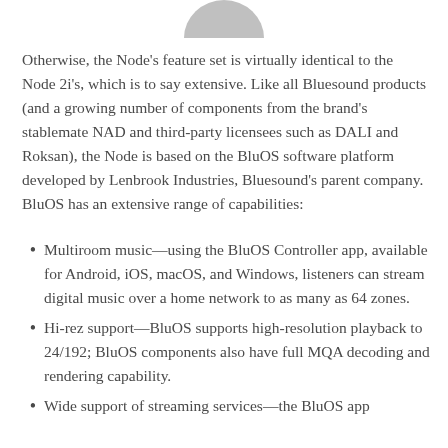[Figure (illustration): Partial view of a circular logo or product image cropped at top of page]
Otherwise, the Node's feature set is virtually identical to the Node 2i's, which is to say extensive. Like all Bluesound products (and a growing number of components from the brand's stablemate NAD and third-party licensees such as DALI and Roksan), the Node is based on the BluOS software platform developed by Lenbrook Industries, Bluesound's parent company. BluOS has an extensive range of capabilities:
Multiroom music—using the BluOS Controller app, available for Android, iOS, macOS, and Windows, listeners can stream digital music over a home network to as many as 64 zones.
Hi-rez support—BluOS supports high-resolution playback to 24/192; BluOS components also have full MQA decoding and rendering capability.
Wide support of streaming services—the BluOS app